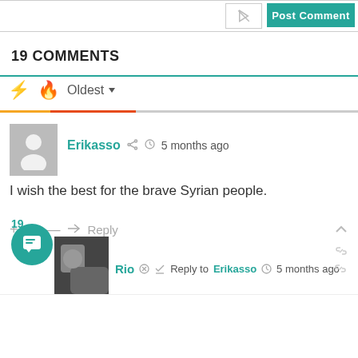[Figure (screenshot): Top bar with notification bell icon button and teal Post Comment button]
19 COMMENTS
Oldest dropdown sort option with lightning and flame icons
Erikasso  5 months ago
I wish the best for the brave Syrian people.
+ 30 —  Reply
19
Rio  Reply to Erikasso  5 months ago